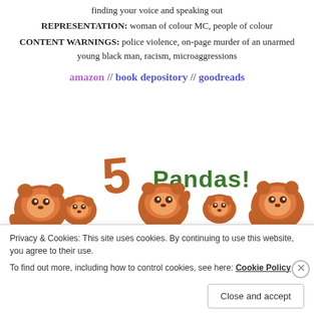finding your voice and speaking out
REPRESENTATION: woman of colour MC, people of colour
CONTENT WARNINGS: police violence, on-page murder of an unarmed young black man, racism, microaggressions
amazon // book depository // goodreads
[Figure (illustration): 5 Pandas! rating graphic showing the number 5 in orange and the text 'Pandas!' in green, with five red panda cartoon characters]
Privacy & Cookies: This site uses cookies. By continuing to use this website, you agree to their use.
To find out more, including how to control cookies, see here: Cookie Policy
Close and accept